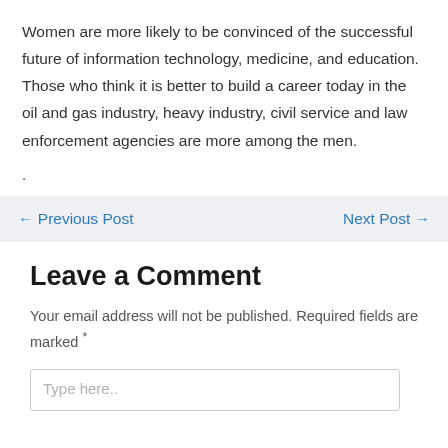Women are more likely to be convinced of the successful future of information technology, medicine, and education. Those who think it is better to build a career today in the oil and gas industry, heavy industry, civil service and law enforcement agencies are more among the men.
.
← Previous Post   Next Post →
Leave a Comment
Your email address will not be published. Required fields are marked *
Type here..